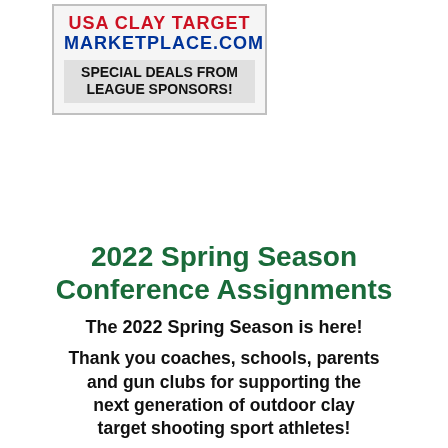[Figure (logo): USA Clay Target Marketplace.com advertisement box with red and blue text and 'Special Deals From League Sponsors!' tagline]
2022 Spring Season Conference Assignments
The 2022 Spring Season is here!
Thank you coaches, schools, parents and gun clubs for supporting the next generation of outdoor clay target shooting sport athletes!
Trap
For the 2022 Spring Trap League, 49 high school teams are assigned to 2 classes and 7 conferences based on